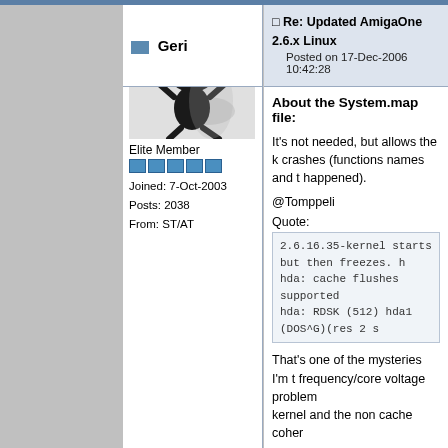Re: Updated AmigaOne 2.6.x Linux — Posted on 17-Dec-2006 10:42:28
Geri
[Figure (photo): Avatar image of a cartoon devil/imp character in black]
Elite Member
Joined: 7-Oct-2003
Posts: 2038
From: ST/AT
About the System.map file:
It's not needed, but allows the k crashes (functions names and t happened).
@Tomppeli
Quote:
2.6.16.35-kernel starts but then freezes. hda: cache flushes supported
hda: RDSK (512) hda1 (DOS^G)(res 2 s
That's one of the mysteries I'm t frequency/core voltage problem kernel and the non cache coher
Quote:
I have one newbie question. Where that partition ? In what dir ?
I have it in the boot directory, wh know, if the SLB can find it, if yo try to create a boot/ subdirectory file there).